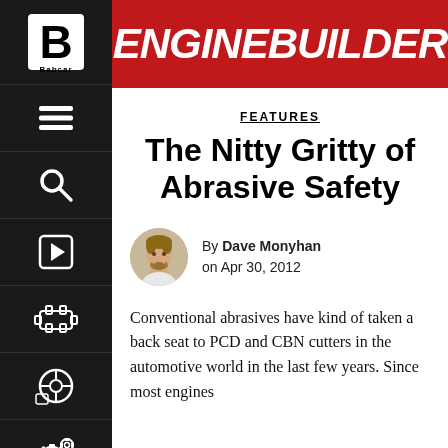ENGINE BUILDER
FEATURES
The Nitty Gritty of Abrasive Safety
By Dave Monyhan on Apr 30, 2012
Conventional abrasives have kind of taken a back seat to PCD and CBN cutters in the automotive world in the last few years. Since most engines